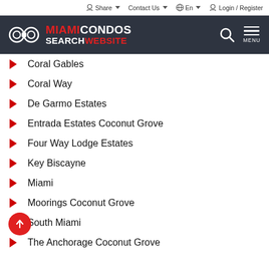Share   Contact Us   En   Login / Register
[Figure (logo): Miami Condos Search Website logo with binoculars icon on dark background, with search and menu icons]
Coral Gables
Coral Way
De Garmo Estates
Entrada Estates Coconut Grove
Four Way Lodge Estates
Key Biscayne
Miami
Moorings Coconut Grove
South Miami
The Anchorage Coconut Grove